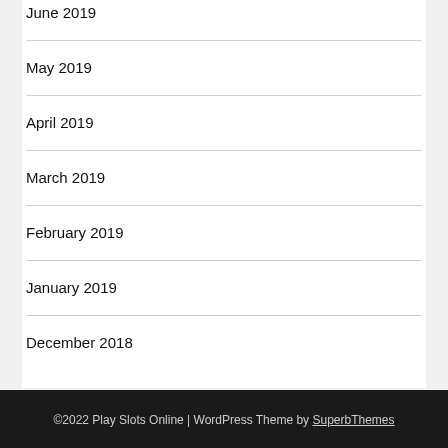June 2019
May 2019
April 2019
March 2019
February 2019
January 2019
December 2018
©2022 Play Slots Online | WordPress Theme by SuperbThemes